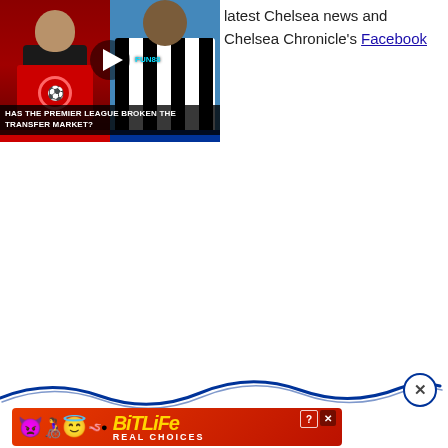[Figure (screenshot): Video thumbnail showing two football players – one holding a Manchester United red shirt, one in Newcastle United black-and-white stripes. A play button is overlaid in the center. Caption reads: Has The Premier League Broken The Transfer Market?]
latest Chelsea news and Chelsea Chronicle's Facebook
[Figure (screenshot): BitLife advertisement banner with emoji characters on a red background, showing 'BitLife REAL CHOICES' logo in yellow text]
[Figure (other): Blue wavy decorative line with a close/X button circle at the right end]